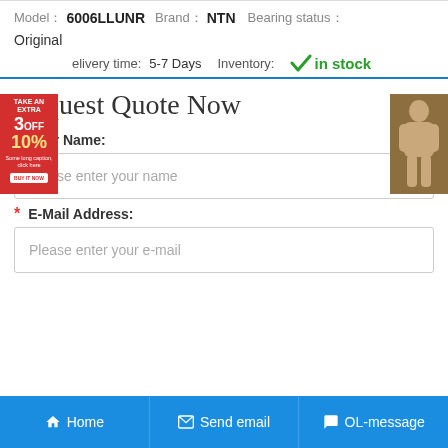Model： 6006LLUNR   Brand： NTN   Bearing status：
Original
Delivery time: 5-7 Days   Inventory: ✓in stock
Request Quote Now
* Your Name:
Please enter your name
* E-Mail Address:
Please enter your e-mail
Home   Send email   OL-message